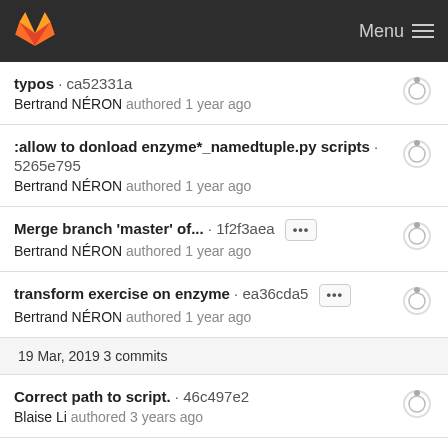GitLab Menu
typos · ca52331a
Bertrand NÉRON authored 1 year ago
:allow to donload enzyme*_namedtuple.py scripts · 5265e795
Bertrand NÉRON authored 1 year ago
Merge branch 'master' of... · 1f2f3aea ···
Bertrand NÉRON authored 1 year ago
transform exercise on enzyme · ea36cda5 ···
Bertrand NÉRON authored 1 year ago
19 Mar, 2019 3 commits
Correct path to script. · 46c497e2
Blaise Li authored 3 years ago
Adding an example of usage of SeqIO. · 6fd6a91f